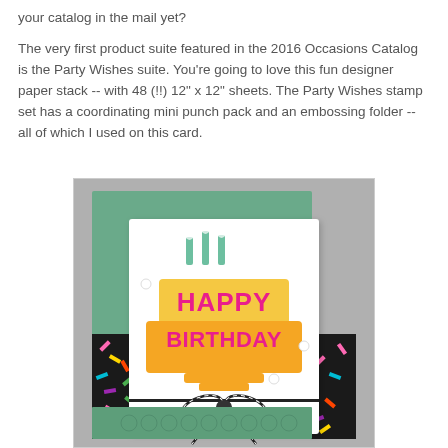your catalog in the mail yet?
The very first product suite featured in the 2016 Occasions Catalog is the Party Wishes suite. You're going to love this fun designer paper stack -- with 48 (!!) 12" x 12" sheets. The Party Wishes stamp set has a coordinating mini punch pack and an embossing folder -- all of which I used on this card.
[Figure (photo): A handmade birthday card featuring a yellow birthday cake with candles, bold pink text reading 'HAPPY BIRTHDAY', set against a black and white sprinkle-patterned designer paper, mounted on a green cardstock base with a black and white twine bow. The card is propped up against a green cardstock panel for display.]